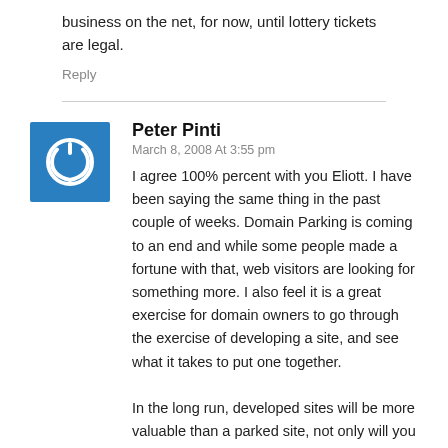business on the net, for now, until lottery tickets are legal.
Reply
Peter Pinti
March 8, 2008 At 3:55 pm
I agree 100% percent with you Eliott. I have been saying the same thing in the past couple of weeks. Domain Parking is coming to an end and while some people made a fortune with that, web visitors are looking for something more. I also feel it is a great exercise for domain owners to go through the exercise of developing a site, and see what it takes to put one together.
In the long run, developed sites will be more valuable than a parked site, not only will you be selling a great name, but you will be selling a brand, with visitors who know that your site is a valuable resource for